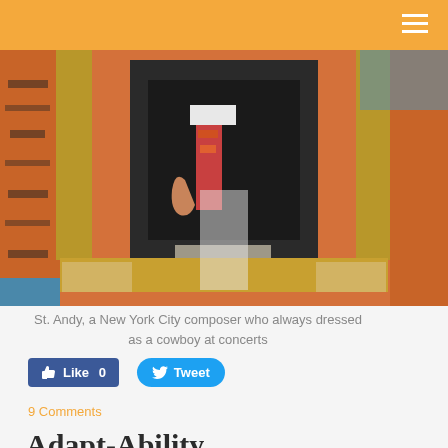[Figure (photo): An artwork or collage depicting a man in a suit and tie on a decorative background with orange/red and gold geometric patterns, resembling a tiger-striped or Native American textile design.]
St. Andy, a New York City composer who always dressed as a cowboy at concerts
Like 0  Tweet
9 Comments
Adapt-Ability